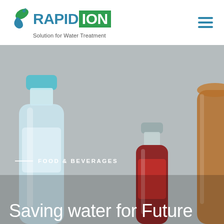[Figure (logo): RapidIon logo — blue leaf/water drop icon, 'RAPID' in blue bold text, 'ION' in white on green background box, tagline 'Solution for Water Treatment' below]
[Figure (photo): Background hero photo showing food and beverage bottles on a grey background: a clear plastic water bottle with blue cap on the left, a red sauce/drink bottle in the center, and a brown bottle on the right]
FOOD & BEVERAGES
Saving water for Future